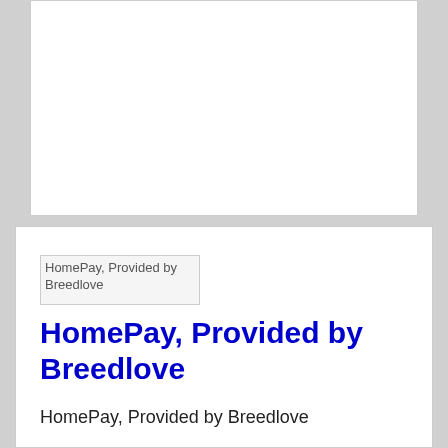[Figure (other): Empty white card/panel at top of page]
[Figure (logo): Broken image placeholder for HomePay, Provided by Breedlove logo]
HomePay, Provided by Breedlove
HomePay, Provided by Breedlove